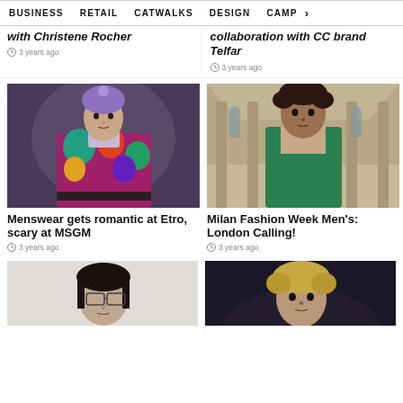BUSINESS  RETAIL  CATWALKS  DESIGN  CAMP >
with Christene Rocher
collaboration with CC brand Telfar
3 years ago
3 years ago
[Figure (photo): Male model wearing colorful floral patterned jacket and purple beanie hat on runway]
[Figure (photo): Young man with curly hair wearing green jacket, standing in front of ornate building interior]
Menswear gets romantic at Etro, scary at MSGM
Milan Fashion Week Men's: London Calling!
3 years ago
3 years ago
[Figure (photo): Person with dark hair wearing glasses, light background]
[Figure (photo): Person with blonde hair, dark background]